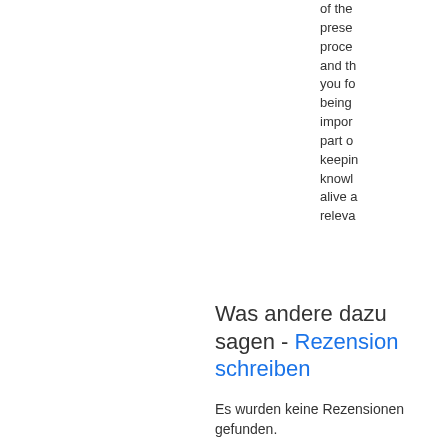of the presente proceeding and the you fo being impor part o keepin knowl alive a releva
Was andere dazu sagen - Rezension schreiben
Es wurden keine Rezensionen gefunden.